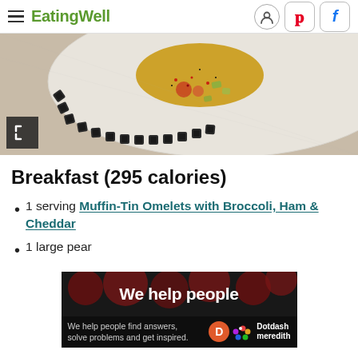EatingWell
[Figure (photo): Close-up photo of a decorative ceramic plate with food items including what appears to be a baked good or omelet with colorful garnishes, on a light linen background.]
Breakfast (295 calories)
1 serving Muffin-Tin Omelets with Broccoli, Ham & Cheddar
1 large pear
[Figure (screenshot): Advertisement banner: dark background with large red dots and text 'We help people' at top; bottom bar shows 'We help people find answers, solve problems and get inspired.' with Dotdash Meredith logo.]